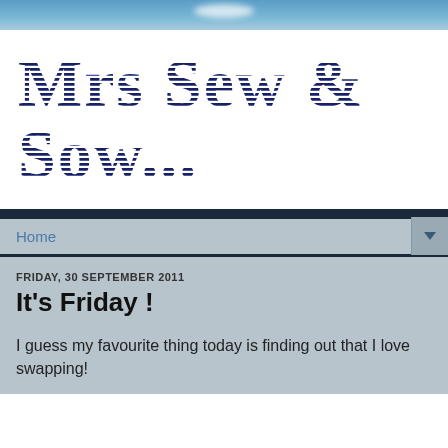[Figure (illustration): Sky banner with blue gradient and cloud]
Mrs Sew & Sow...
Home
FRIDAY, 30 SEPTEMBER 2011
It's Friday !
I guess my favourite thing today is finding out that I love swapping!